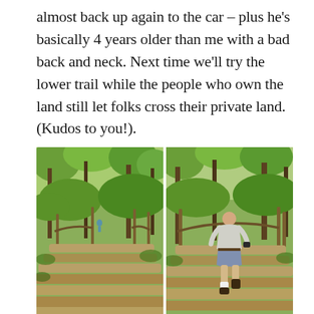almost back up again to the car – plus he's basically 4 years older than me with a bad back and neck. Next time we'll try the lower trail while the people who own the land still let folks cross their private land. (Kudos to you!).
[Figure (photo): Two side-by-side photos of wooden log staircase steps on a forest trail surrounded by green trees and lush vegetation. Left photo shows a distant figure near the top of the stairs. Right photo shows a man in shorts and a light shirt climbing the stairs viewed from behind, close up.]